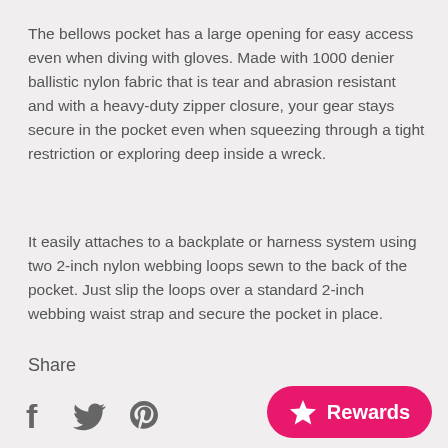The bellows pocket has a large opening for easy access even when diving with gloves. Made with 1000 denier ballistic nylon fabric that is tear and abrasion resistant and with a heavy-duty zipper closure, your gear stays secure in the pocket even when squeezing through a tight restriction or exploring deep inside a wreck.
It easily attaches to a backplate or harness system using two 2-inch nylon webbing loops sewn to the back of the pocket. Just slip the loops over a standard 2-inch webbing waist strap and secure the pocket in place.
Share
[Figure (other): Social media icons: Facebook (f), Twitter (bird), Pinterest (P)]
[Figure (other): Pink rounded Rewards button with a star icon and 'Rewards' text]